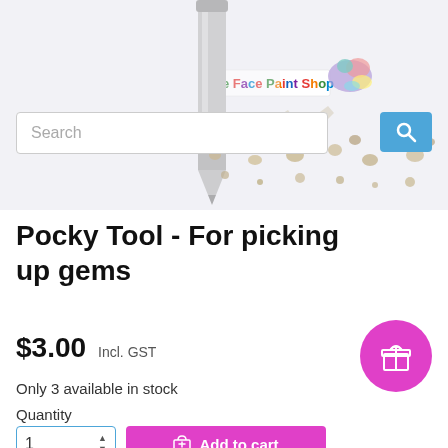[Figure (screenshot): E-commerce product page screenshot showing The Face Paint Shop website header with search bar, pencil/wax tool image, scattered gems, product title, price, stock info, quantity selector, and add to cart button.]
Pocky Tool - For picking up gems
$3.00  Incl. GST
Only 3 available in stock
Quantity
Add to cart